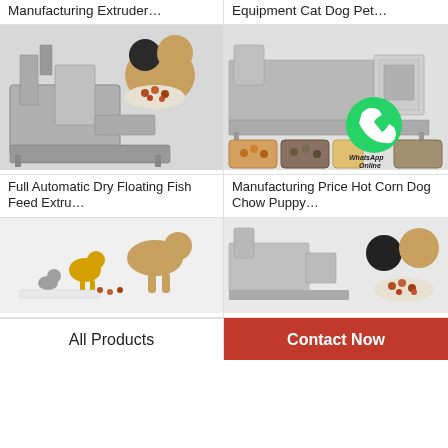Manufacturing Extruder…
Equipment Cat Dog Pet…
[Figure (photo): Industrial fish feed extruder machine with two pug dogs and a bowl of pet food kibble]
[Figure (photo): Pet food manufacturing extruder machine with small sample kibble bowls and WhatsApp Online badge]
Full Automatic Dry Floating Fish Feed Extru…
Manufacturing Price Hot Corn Dog Chow Puppy…
[Figure (photo): Dog, chicken, and cat eating pet food with paper tray]
[Figure (photo): Industrial pet food processing machine with pug dogs and bowl of kibble]
All Products
Contact Now